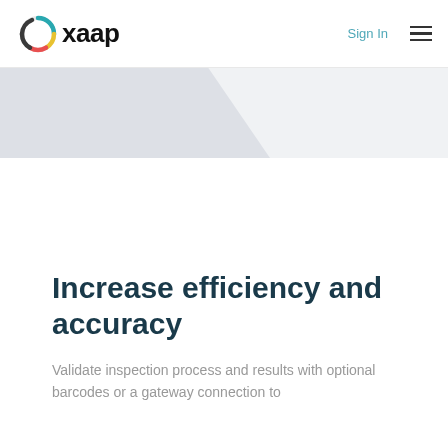[Figure (logo): Oxaap logo with multicolor circular icon and black text]
Sign In
[Figure (other): Hamburger menu icon (three horizontal lines)]
[Figure (other): Light grey banner with diagonal shape]
Increase efficiency and accuracy
Validate inspection process and results with optional barcodes or a gateway connection to